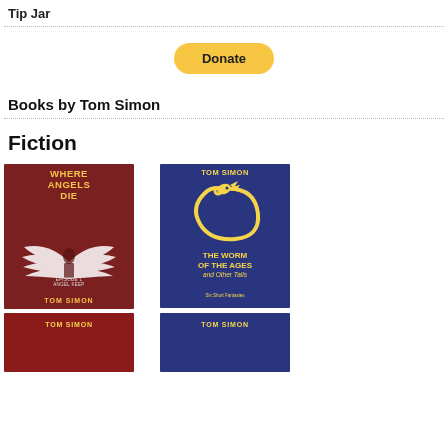Tip Jar
[Figure (other): PayPal Donate button, yellow/gold rounded rectangle with bold text 'Donate']
Books by Tom Simon
Fiction
[Figure (illustration): Book cover: WHERE ANGELS DIE, Episode 1, Angel Keep, Tom Simon. Dark red background with a winged figure and white wing illustrations.]
[Figure (illustration): Book cover: THE WORM OF THE AGES and Other Tails, Six Short Fantasies, Tom Simon. Dark blue background with a yellow ouroboros dragon.]
[Figure (illustration): Partial book cover: TOM SIMON, dark red background.]
[Figure (illustration): Partial book cover: TOM SIMON, dark blue background.]